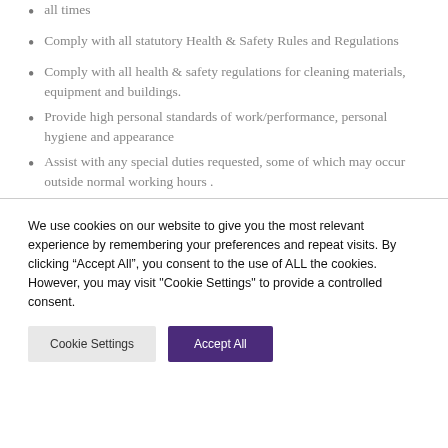all times
Comply with all statutory Health & Safety Rules and Regulations
Comply with all health & safety regulations for cleaning materials, equipment and buildings.
Provide high personal standards of work/performance, personal hygiene and appearance
Assist with any special duties requested, some of which may occur outside normal working hours .
We use cookies on our website to give you the most relevant experience by remembering your preferences and repeat visits. By clicking “Accept All”, you consent to the use of ALL the cookies. However, you may visit "Cookie Settings" to provide a controlled consent.